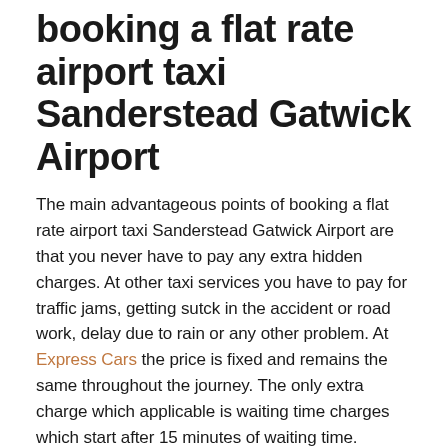booking a flat rate airport taxi Sanderstead Gatwick Airport
The main advantageous points of booking a flat rate airport taxi Sanderstead Gatwick Airport are that you never have to pay any extra hidden charges. At other taxi services you have to pay for traffic jams, getting sutck in the accident or road work, delay due to rain or any other problem. At Express Cars the price is fixed and remains the same throughout the journey. The only extra charge which applicable is waiting time charges which start after 15 minutes of waiting time.
With black taxis and Uber the prices are much higher. The price keeps ticking even if the taxi is stop or moving slowly in